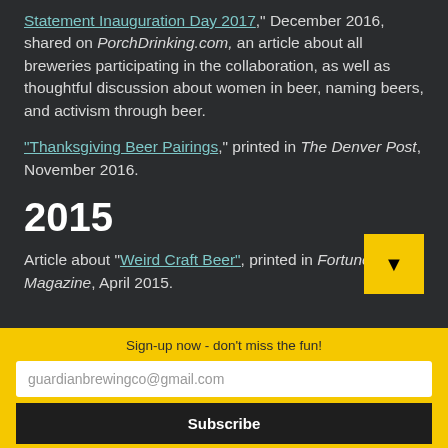"Statement Inauguration Day 2017," December 2016, shared on PorchDrinking.com, an article about all breweries participating in the collaboration, as well as thoughtful discussion about women in beer, naming beers, and activism through beer.
"Thanksgiving Beer Pairings," printed in The Denver Post, November 2016.
2015
Article about "Weird Craft Beer", printed in Fortune Magazine, April 2015.
Sign-up now - don't miss the fun!
guardianbrewingco@gmail.com
Subscribe